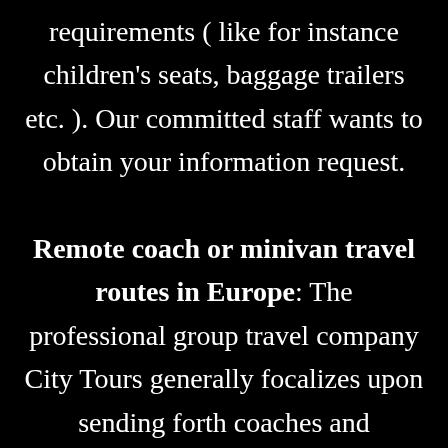requirements ( like for instance children's seats, baggage trailers etc. ). Our committed staff wants to obtain your information request. Remote coach or minivan travel routes in Europe: The professional group travel company City Tours generally focalizes upon sending forth coaches and minivans of any design with a skilled conductor for utilization during extended tours